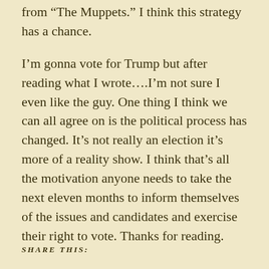from "The Muppets." I think this strategy has a chance.
I'm gonna vote for Trump but after reading what I wrote....I'm not sure I even like the guy.  One thing I think we can all agree on is the political process has changed.  It's not really an election it's more of a reality show.  I think that's all the motivation anyone needs to take the next eleven months to inform themselves of the issues and candidates and exercise their right to vote.  Thanks for reading.
SHARE THIS: